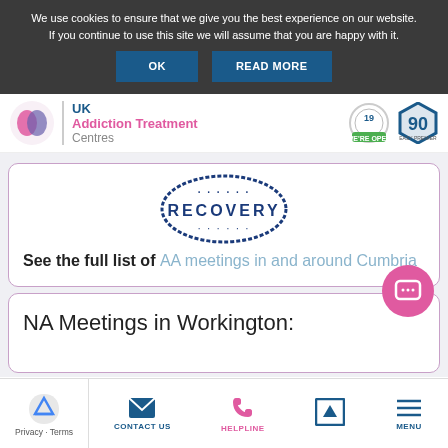We use cookies to ensure that we give you the best experience on our website. If you continue to use this site we will assume that you are happy with it.
OK | READ MORE
UK Addiction Treatment Centres
[Figure (logo): RECOVERY circular stamp logo in navy blue]
See the full list of AA meetings in and around Cumbria
NA Meetings in Workington:
Privacy · Terms | CONTACT US | HELPLINE | MENU